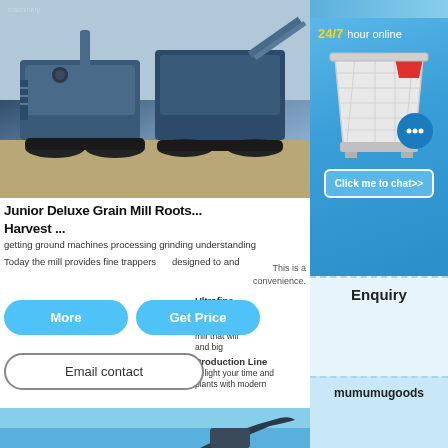[Figure (photo): Industrial mobile crushing/mining machinery (large blue tracked crushers) parked outdoors on sandy ground]
Junior Deluxe Grain Mill Roots...Harvest ...
getting ground machines processing grinding and understanding
Today the mill provides fine trappers designed to and
This is a convenience.
Ultrafine Mill
For purchase mill that will and big
Production Line
delight your time and plants with modern
More
Get Price
Email contact
[Figure (photo): Partial view of heavy machinery/excavator against blue sky]
[Figure (illustration): White industrial crusher/jaw crusher machine 3D illustration with red accent]
24/7 hour online
Click me to chat>>
Enquiry
mumumugoods